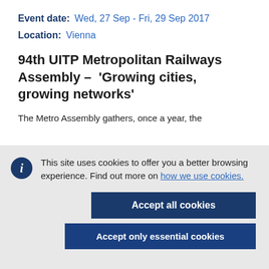Event date:  Wed, 27 Sep - Fri, 29 Sep 2017
Location:  Vienna
94th UITP Metropolitan Railways Assembly – 'Growing cities, growing networks'
The Metro Assembly gathers, once a year, the
This site uses cookies to offer you a better browsing experience. Find out more on how we use cookies.
Accept all cookies
Accept only essential cookies